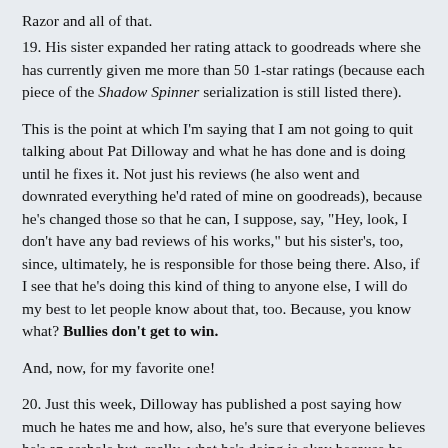Razor and all of that.
19. His sister expanded her rating attack to goodreads where she has currently given me more than 50 1-star ratings (because each piece of the Shadow Spinner serialization is still listed there).
This is the point at which I'm saying that I am not going to quit talking about Pat Dilloway and what he has done and is doing until he fixes it. Not just his reviews (he also went and downrated everything he'd rated of mine on goodreads), because he's changed those so that he can, I suppose, say, "Hey, look, I don't have any bad reviews of his works," but his sister's, too, since, ultimately, he is responsible for those being there. Also, if I see that he's doing this kind of thing to anyone else, I will do my best to let people know about that, too. Because, you know what? Bullies don't get to win.
And, now, for my favorite one!
20. Just this week, Dilloway has published a post saying how much he hates me and how, also, he's sure that everyone believes he's an asshole but, really, what he's doing is okay because he keeps it isolated to "out-of-the-way message boards and blogs." At least